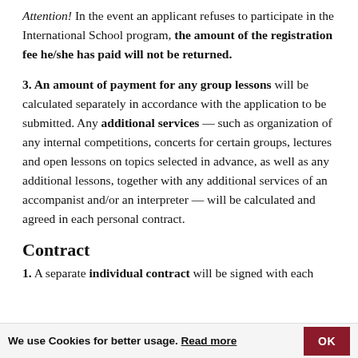Attention! In the event an applicant refuses to participate in the International School program, the amount of the registration fee he/she has paid will not be returned.
3. An amount of payment for any group lessons will be calculated separately in accordance with the application to be submitted. Any additional services — such as organization of any internal competitions, concerts for certain groups, lectures and open lessons on topics selected in advance, as well as any additional lessons, together with any additional services of an accompanist and/or an interpreter — will be calculated and agreed in each personal contract.
Contract
1. A separate individual contract will be signed with each
We use Cookies for better usage. Read more OK